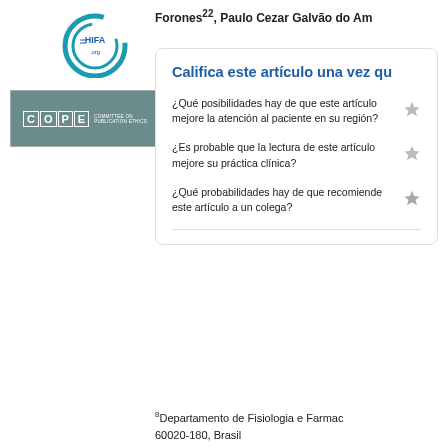[Figure (logo): HIFA circular logo with text 'HIFA .org']
[Figure (logo): COPE - Committee on Publication Ethics logo]
Forones22, Paulo Cezar Galvão do Am...
Califica este artículo una vez qu...
¿Qué posibilidades hay de que este artículo mejore la atención al paciente en su región?
¿Es probable que la lectura de este artículo mejore su práctica clínica?
¿Qué probabilidades hay de que recomiende este artículo a un colega?
8Departamento de Fisiologia e Farmac... 60020-180, Brasil